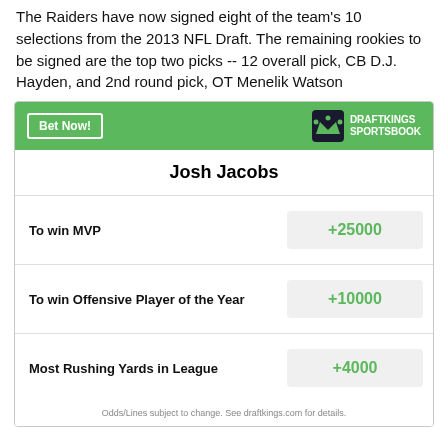The Raiders have now signed eight of the team's 10 selections from the 2013 NFL Draft. The remaining rookies to be signed are the top two picks -- 12 overall pick, CB D.J. Hayden, and 2nd round pick, OT Menelik Watson
| Player | Bet Type | Odds |
| --- | --- | --- |
| Josh Jacobs | To win MVP | +25000 |
| Josh Jacobs | To win Offensive Player of the Year | +10000 |
| Josh Jacobs | Most Rushing Yards in League | +4000 |
Odds/Lines subject to change. See draftkings.com for details.